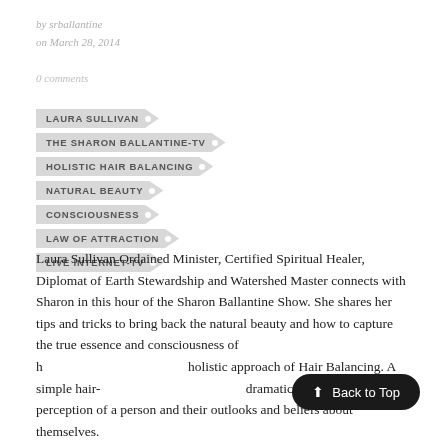by srballantine
on March 28, 2014
0 comments
LAURA SULLIVAN
THE SHARON BALLANTINE-TV
HOLISTIC HAIR BALANCING
NATURAL BEAUTY
CONSCIOUSNESS
LAW OF ATTRACTION
LIVE INTERNET-TV
Laura Sullivan Ordained Minister, Certified Spiritual Healer, Diplomat of Earth Stewardship and Watershed Master connects with Sharon in this hour of the Sharon Ballantine Show. She shares her tips and tricks to bring back the natural beauty and how to capture the true essence and consciousness of her holistic approach of Hair Balancing. A simple hair- dramatically change the perception of a person and their outlooks and beliefs about themselves.